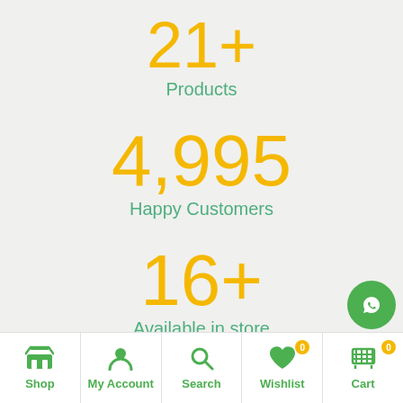21+
Products
4,995
Happy Customers
16+
Available in store
Shop
My Account
Search
Wishlist
Cart